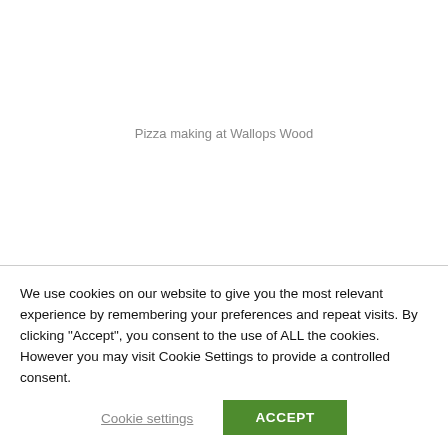Pizza making at Wallops Wood
We use cookies on our website to give you the most relevant experience by remembering your preferences and repeat visits. By clicking “Accept”, you consent to the use of ALL the cookies. However you may visit Cookie Settings to provide a controlled consent.
Cookie settings
ACCEPT